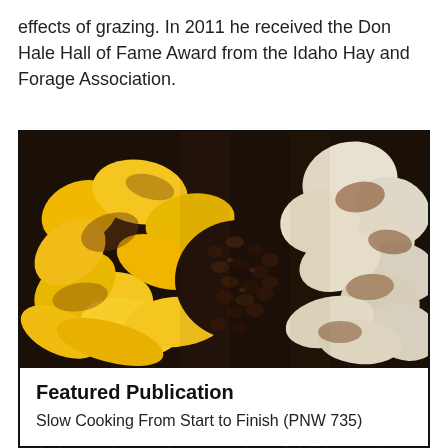effects of grazing. In 2011 he received the Don Hale Hall of Fame Award from the Idaho Hay and Forage Association.
[Figure (photo): A slow cooker pot filled with yellow peach slices, dark raisins, and white pear pieces, all dusted with cinnamon.]
Featured Publication
Slow Cooking From Start to Finish (PNW 735)
A slow cooker produces a variety of delicious and